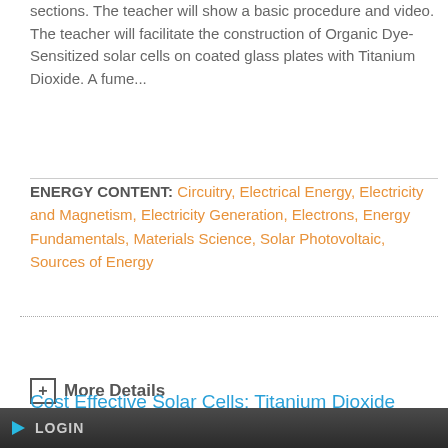sections. The teacher will show a basic procedure and video. The teacher will facilitate the construction of Organic Dye-Sensitized solar cells on coated glass plates with Titanium Dioxide. A fume...
ENERGY CONTENT: Circuitry, Electrical Energy, Electricity and Magnetism, Electricity Generation, Electrons, Energy Fundamentals, Materials Science, Solar Photovoltaic, Sources of Energy
+ More Details
Cost Effective Solar Cells: Titanium Dioxide
LOGIN